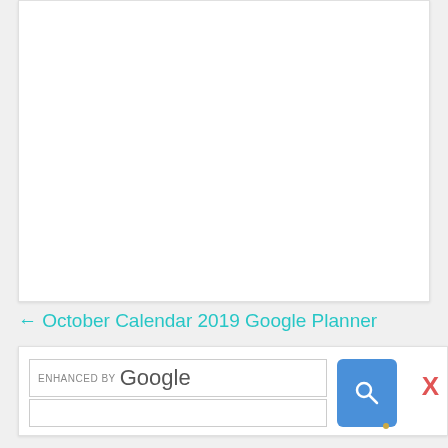[Figure (other): White blank content panel area]
← October Calendar 2019 Google Planner
[Figure (screenshot): Google enhanced search widget with search input box, search button (magnifying glass icon), and X close button]